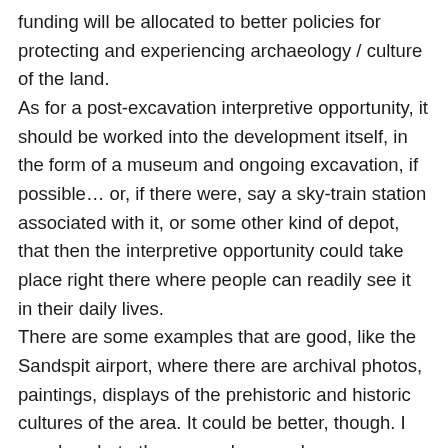funding will be allocated to better policies for protecting and experiencing archaeology / culture of the land.
As for a post-excavation interpretive opportunity, it should be worked into the development itself, in the form of a museum and ongoing excavation, if possible… or, if there were, say a sky-train station associated with it, or some other kind of depot, that then the interpretive opportunity could take place right there where people can readily see it in their daily lives.
There are some examples that are good, like the Sandspit airport, where there are archival photos, paintings, displays of the prehistoric and historic cultures of the area. It could be better, though. I wonder what other examples people